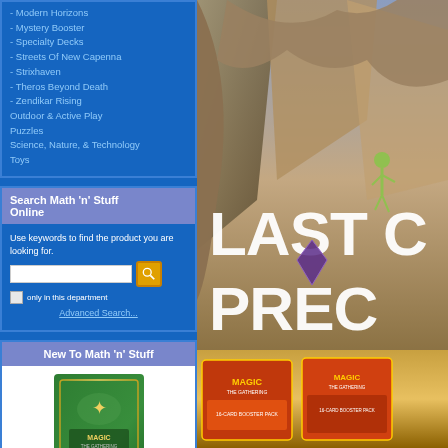- Modern Horizons
- Mystery Booster
- Specialty Decks
- Streets Of New Capenna
- Strixhaven
- Theros Beyond Death
- Zendikar Rising
Outdoor & Active Play
Puzzles
Science, Nature, & Technology
Toys
Search Math 'n' Stuff Online
Use keywords to find the product you are looking for.
only in this department
Advanced Search...
New To Math 'n' Stuff
[Figure (photo): Magic: The Gathering booster pack product image]
New Capenna Set Booster $4.99
[Figure (photo): Magic: The Gathering Last Chance Precon promotional banner with fantasy artwork showing rocky cliffs and a figure, with Magic product boxes at bottom]